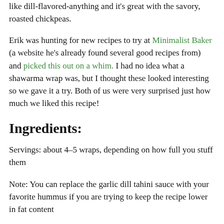like dill-flavored-anything and it's great with the savory, roasted chickpeas.
Erik was hunting for new recipes to try at Minimalist Baker (a website he's already found several good recipes from) and picked this out on a whim. I had no idea what a shawarma wrap was, but I thought these looked interesting so we gave it a try. Both of us were very surprised just how much we liked this recipe!
Ingredients:
Servings: about 4-5 wraps, depending on how full you stuff them
Note: You can replace the garlic dill tahini sauce with your favorite hummus if you are trying to keep the recipe lower in fat content
Roasted Chickpeas: